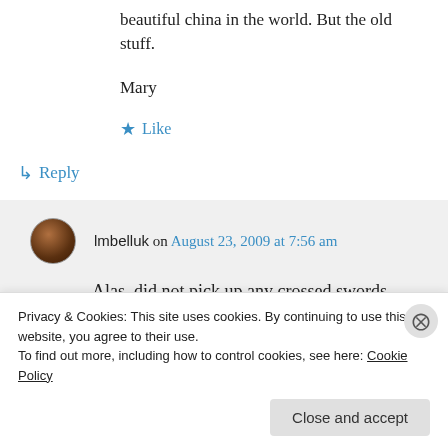beautiful china in the world. But the old stuff.
Mary
★ Like
↳ Reply
lmbelluk on August 23, 2009 at 7:56 am
Alas, did not pick up any crossed swords.
Seven hundred euros for a jug, creamer
Privacy & Cookies: This site uses cookies. By continuing to use this website, you agree to their use.
To find out more, including how to control cookies, see here: Cookie Policy
Close and accept